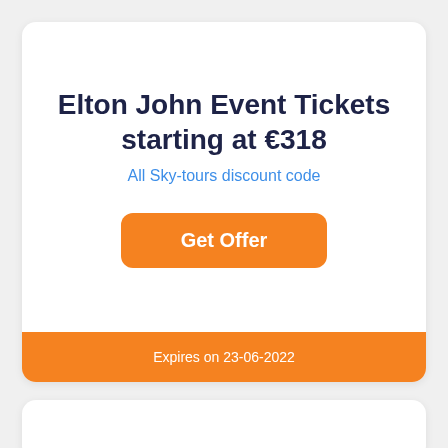Elton John Event Tickets starting at €318
All Sky-tours discount code
Get Offer
Expires on 23-06-2022